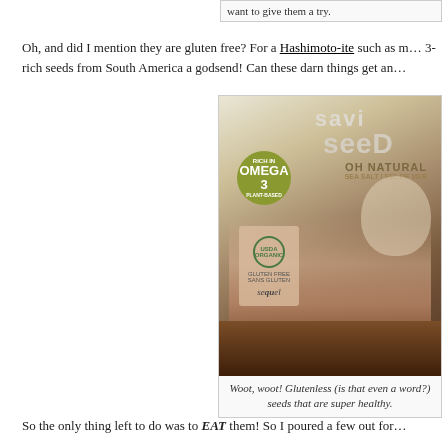want to give them a try.
Oh, and did I mention they are gluten free? For a Hashimoto-ite such as m… 3-rich seeds from South America a godsend! Can these darn things get an…
[Figure (photo): A hand holding a package of Savi Seed Oh Natural (Sea Salt) omega-3 seeds with USDA Organic and gluten free labels, with seeds visible at the bottom.]
Woot, woot! Glutenless (is that even a word?) seeds that are super healthy.
So the only thing left to do was to EAT them! So I poured a few out for…